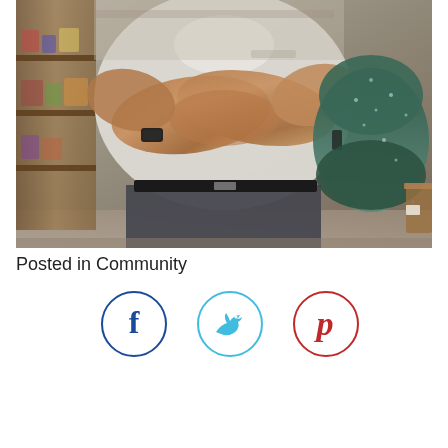[Figure (photo): A man in a white polo shirt with arms crossed, standing in what appears to be a store or shop with shelves and a large green grill (Big Green Egg) visible to his right.]
Posted in Community
[Figure (infographic): Three social media sharing buttons in circles: Facebook (blue circle, f logo), Twitter (light blue circle, bird logo), Pinterest (red circle, P logo)]